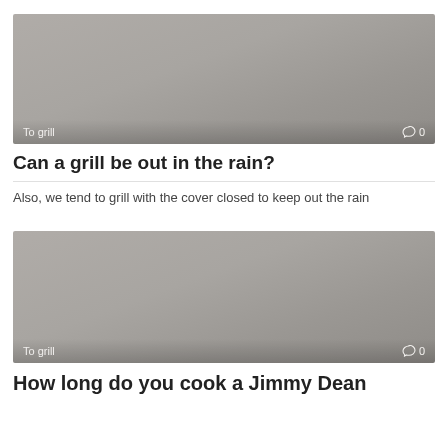[Figure (photo): Gray placeholder image with 'To grill' label on lower left and comment icon with '0' on lower right]
Can a grill be out in the rain?
Also, we tend to grill with the cover closed to keep out the rain
[Figure (photo): Gray placeholder image with 'To grill' label on lower left and comment icon with '0' on lower right]
How long do you cook a Jimmy Dean